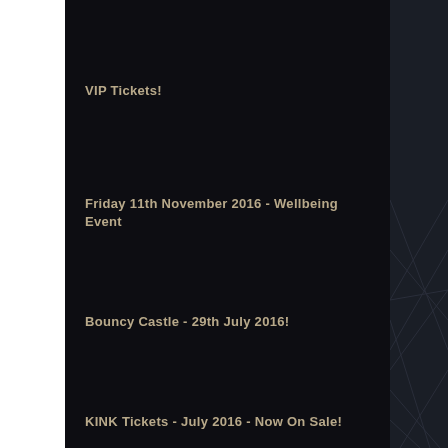VIP Tickets!
Friday 11th November 2016 - Wellbeing Event
Bouncy Castle - 29th July 2016!
KINK Tickets - July 2016 - Now On Sale!